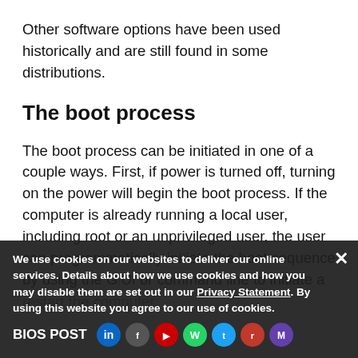Other software options have been used historically and are still found in some distributions.
The boot process
The boot process can be initiated in one of a couple ways. First, if power is turned off, turning on the power will begin the boot process. If the computer is already running a local user, including root or an unprivileged user, the user can programmatically initiate the boot sequence by using the GUI or command line to initiate a restart the computer.
BIOS POST
We use cookies on our websites to deliver our online services. Details about how we use cookies and how you may disable them are set out in our Privacy Statement. By using this website you agree to our use of cookies.